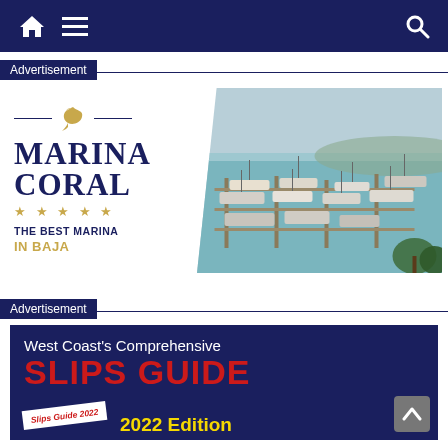Navigation bar with home, menu, and search icons
Advertisement
[Figure (photo): Marina Coral advertisement showing logo on left (with sailfish icon, stars, tagline 'THE BEST MARINA IN BAJA') and aerial photo of marina with boats on right]
Advertisement
[Figure (photo): West Coast's Comprehensive SLIPS GUIDE 2022 Edition advertisement with dark navy background, red bold title text, and a small Slips Guide 2022 book image]